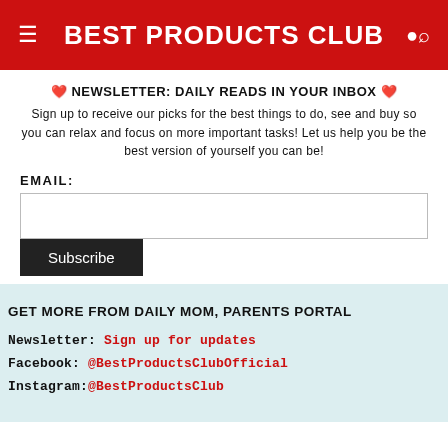BEST PRODUCTS CLUB
❤️ NEWSLETTER: DAILY READS IN YOUR INBOX ❤️
Sign up to receive our picks for the best things to do, see and buy so you can relax and focus on more important tasks! Let us help you be the best version of yourself you can be!
EMAIL:
Subscribe
GET MORE FROM DAILY MOM, PARENTS PORTAL
Newsletter: Sign up for updates
Facebook: @BestProductsClubOfficial
Instagram:@BestProductsClub